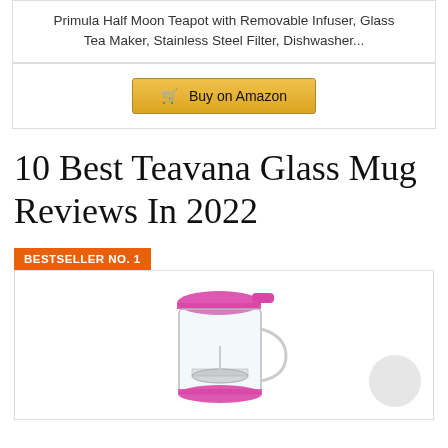Primula Half Moon Teapot with Removable Infuser, Glass Tea Maker, Stainless Steel Filter, Dishwasher...
🛒 Buy on Amazon
10 Best Teavana Glass Mug Reviews In 2022
BESTSELLER NO. 1
[Figure (photo): A glass mug with a pink/magenta lid and base, featuring a built-in strainer/infuser inside, with a clear glass body and handle.]